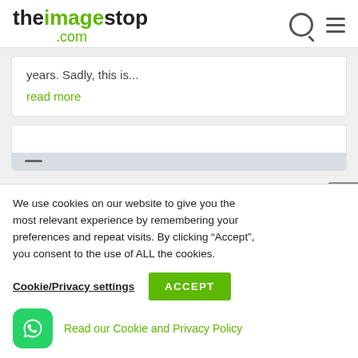theimagestop.com
years. Sadly, this is...
read more
We use cookies on our website to give you the most relevant experience by remembering your preferences and repeat visits. By clicking “Accept”, you consent to the use of ALL the cookies.
Cookie/Privacy settings
ACCEPT
Read our Cookie and Privacy Policy